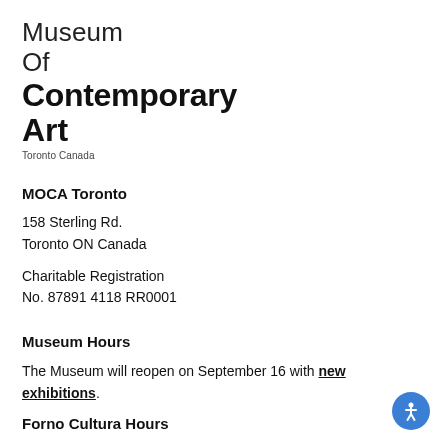Museum Of Contemporary Art Toronto Canada
MOCA Toronto
158 Sterling Rd.
Toronto ON Canada
Charitable Registration No. 87891 4118 RR0001
Museum Hours
The Museum will reopen on September 16 with new exhibitions.
Forno Cultura Hours